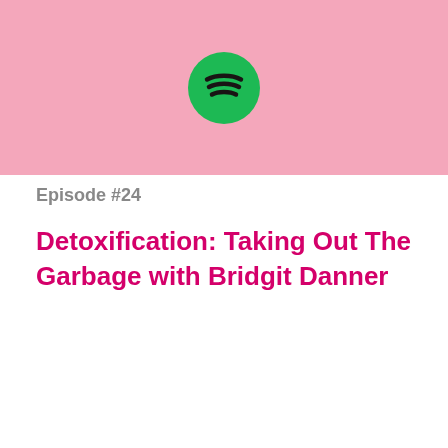[Figure (logo): Spotify green circle logo with three curved black lines (sound waves) centered in a pink header banner]
Episode #24
Detoxification: Taking Out The Garbage with Bridgit Danner